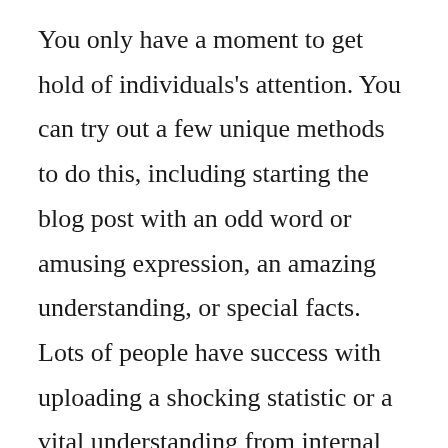You only have a moment to get hold of individuals's attention. You can try out a few unique methods to do this, including starting the blog post with an odd word or amusing expression, an amazing understanding, or special facts. Lots of people have success with uploading a shocking statistic or a vital understanding from internal research study and also research studies. Numbers are fantastic for catching people's focus. Utilize the next sentence to reiterate what is in the